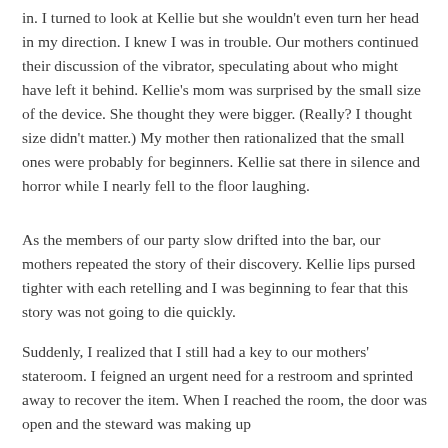in. I turned to look at Kellie but she wouldn't even turn her head in my direction. I knew I was in trouble. Our mothers continued their discussion of the vibrator, speculating about who might have left it behind. Kellie's mom was surprised by the small size of the device. She thought they were bigger. (Really? I thought size didn't matter.) My mother then rationalized that the small ones were probably for beginners. Kellie sat there in silence and horror while I nearly fell to the floor laughing.
As the members of our party slow drifted into the bar, our mothers repeated the story of their discovery. Kellie lips pursed tighter with each retelling and I was beginning to fear that this story was not going to die quickly.
Suddenly, I realized that I still had a key to our mothers' stateroom. I feigned an urgent need for a restroom and sprinted away to recover the item. When I reached the room, the door was open and the steward was making up